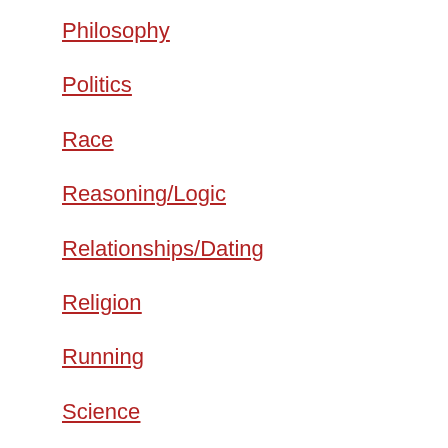Philosophy
Politics
Race
Reasoning/Logic
Relationships/Dating
Religion
Running
Science
Sports/Athletics
Technology